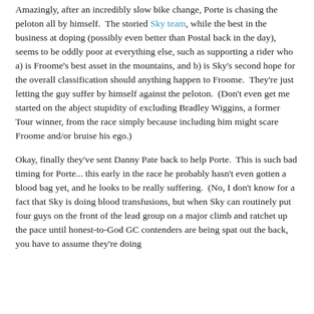Amazingly, after an incredibly slow bike change, Porte is chasing the peloton all by himself.  The storied Sky team, while the best in the business at doping (possibly even better than Postal back in the day), seems to be oddly poor at everything else, such as supporting a rider who a) is Froome's best asset in the mountains, and b) is Sky's second hope for the overall classification should anything happen to Froome.  They're just letting the guy suffer by himself against the peloton.  (Don't even get me started on the abject stupidity of excluding Bradley Wiggins, a former Tour winner, from the race simply because including him might scare Froome and/or bruise his ego.)
Okay, finally they've sent Danny Pate back to help Porte.  This is such bad timing for Porte... this early in the race he probably hasn't even gotten a blood bag yet, and he looks to be really suffering.  (No, I don't know for a fact that Sky is doing blood transfusions, but when Sky can routinely put four guys on the front of the lead group on a major climb and ratchet up the pace until honest-to-God GC contenders are being spat out the back, you have to assume they're doing